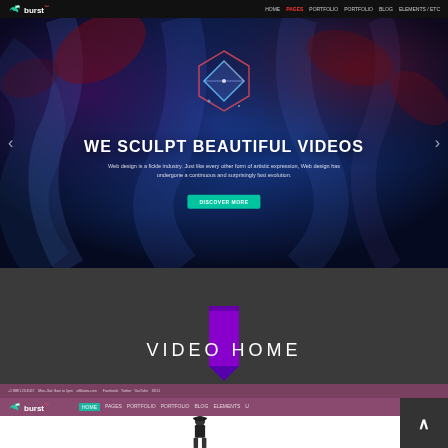[Figure (screenshot): Website screenshot showing 'burst' logo with navigation bar, hero section with blue smoky background and geometric diamond shape, text 'WE SCULPT BEAUTIFUL VIDEOS' with subtitle and teal CTA button, and three thumbnail images below]
VIDEO HOME
[Figure (screenshot): Second website screenshot showing 'burst' logo with purple/mauve header bar, navigation links, and a white content area with a fashion model figure, plus a dark back-to-top button on the right]